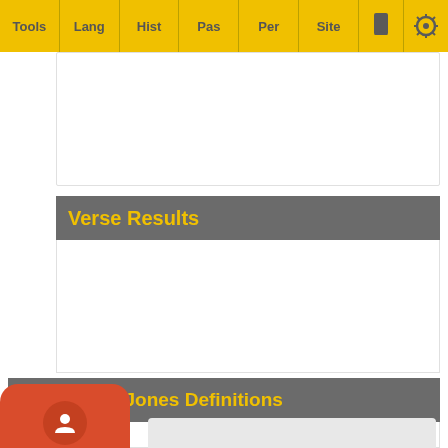Tools | Lang | Hist | Pas | Per | Site
Verse Results
ddell-Scott-Jones Definitions
σοφ-ίζω
mak... αν 2